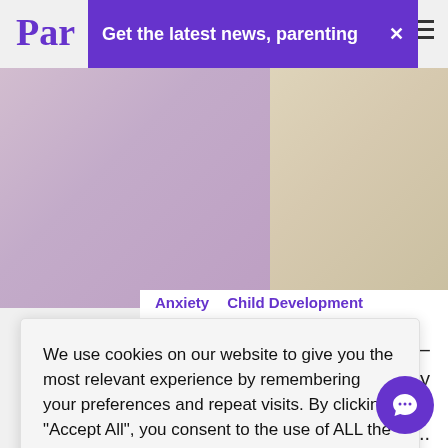Par
[Figure (screenshot): Purple notification banner reading 'Get the latest news, parenting' with close X button]
[Figure (photo): Two side-by-side images showing parenting/child scenes, partially visible]
Anxiety   Child Development
ou –
p my
lways
re...
We use cookies on our website to give you the most relevant experience by remembering your preferences and repeat visits. By clicking "Accept All", you consent to the use of ALL the cookies. However, you may visit "Cookie Settings" to provide a controlled consent.
Cookie Settings
Accept All
June 8, 2021